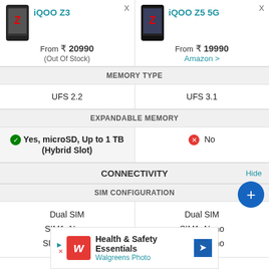| iQOO Z3 | iQOO Z5 5G |
| --- | --- |
| From ₹ 20990 (Out Of Stock) | From ₹ 19990 Amazon > |
| MEMORY TYPE |  |
| UFS 2.2 | UFS 3.1 |
| EXPANDABLE MEMORY |  |
| ✓ Yes, microSD, Up to 1 TB (Hybrid Slot) | ✗ No |
| CONNECTIVITY | Hide |
| SIM CONFIGURATION |  |
| Dual SIM
SIM1: Nano
SIM2: Hybrid | Dual SIM
SIM1: Nano
SIM2: Nano |
[Figure (infographic): Advertisement banner for Walgreens Photo Health & Safety Essentials]